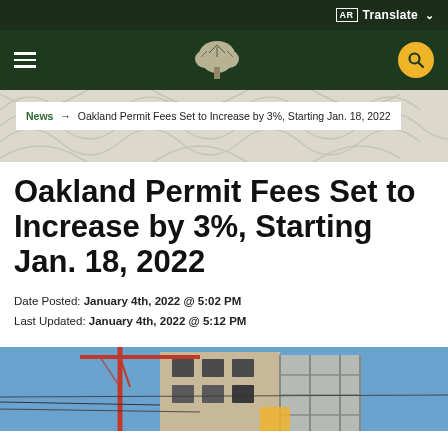AR Translate
Navigation bar with hamburger menu, Oakland city tree logo, and search button
News → Oakland Permit Fees Set to Increase by 3%, Starting Jan. 18, 2022
Oakland Permit Fees Set to Increase by 3%, Starting Jan. 18, 2022
Date Posted: January 4th, 2022 @ 5:02 PM
Last Updated: January 4th, 2022 @ 5:12 PM
[Figure (photo): Construction site photo showing a building under construction with scaffolding and a red crane against a blue sky]